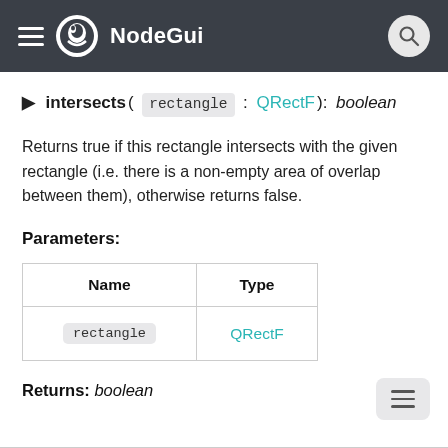NodeGui
▶ intersects( rectangle : QRectF): boolean
Returns true if this rectangle intersects with the given rectangle (i.e. there is a non-empty area of overlap between them), otherwise returns false.
Parameters:
| Name | Type |
| --- | --- |
| rectangle | QRectF |
Returns: boolean